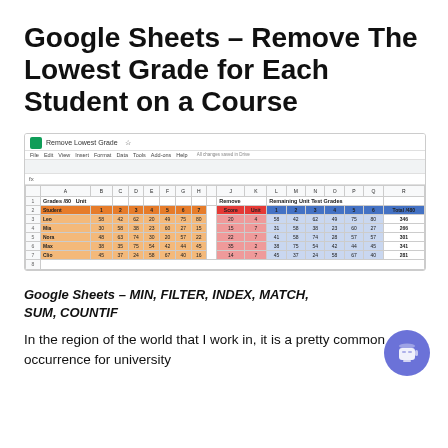Google Sheets – Remove The Lowest Grade for Each Student on a Course
[Figure (screenshot): Screenshot of a Google Sheets spreadsheet showing student grades with columns for Grades /80, Unit, Remove (lowest grade), Remaining Unit Test Grades, and Total. Students listed: Leo, Mia, Nora, Max, Clio with grade data.]
Google Sheets – MIN, FILTER, INDEX, MATCH, SUM, COUNTIF
In the region of the world that I work in, it is a pretty common occurrence for university